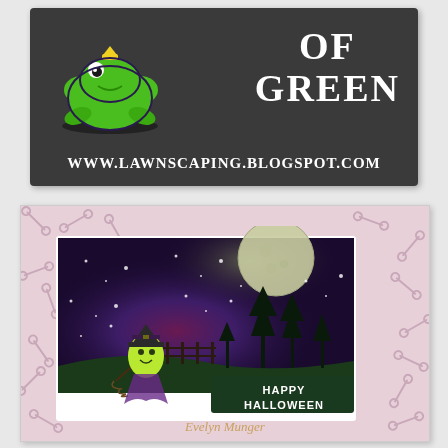[Figure (photo): Dark chalkboard-style banner with a cartoon green frog character on the left, text reading 'OF GREEN' in white on the right, and URL 'WWW.LAWNSCAPING.BLOGSPOT.COM' along the bottom. Lawnscaping blog header image.]
[Figure (photo): Handmade Halloween greeting card on a pink bones-patterned background. The card features a glittery night sky scene with a large moon, a green witch ghost character holding a broom, dark silhouette trees, and white spatter snowflake effects. Text reads 'HAPPY HALLOWEEN' in white on dark green panel. Signed 'Evelyn Munger' in cursive gold at bottom.]